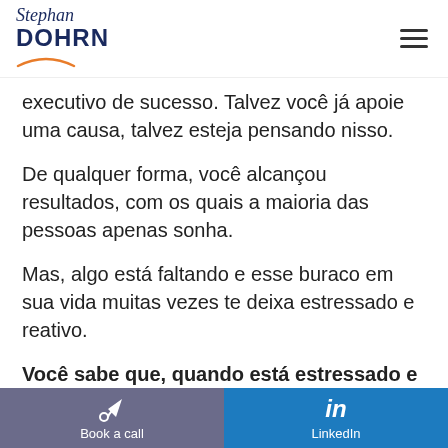Stephan DOHRN
executivo de sucesso. Talvez você já apoie uma causa, talvez esteja pensando nisso.
De qualquer forma, você alcançou resultados, com os quais a maioria das pessoas apenas sonha.
Mas, algo está faltando e esse buraco em sua vida muitas vezes te deixa estressado e reativo.
Você sabe que, quando está estressado e reativo, toma
Book a call | LinkedIn